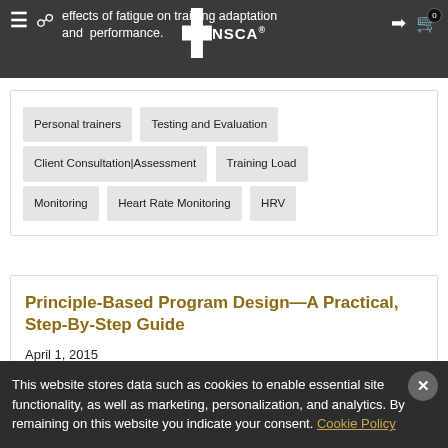effects of fatigue on training adaptation and performance.
Personal trainers
Testing and Evaluation
Client Consultation|Assessment
Training Load
Monitoring
Heart Rate Monitoring
HRV
Principle-Based Program Design—A Practical, Step-By-Step Guide
April 1, 2015
Article   Members Only
This website stores data such as cookies to enable essential site functionality, as well as marketing, personalization, and analytics. By remaining on this website you indicate your consent. Cookie Policy